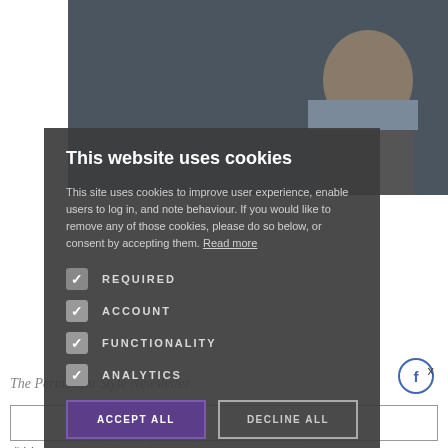[Figure (photo): Background website screenshot showing a man in a suit from behind, with article title 'THE (21) SHIRTMAKERS I HAVE KNOWN' overlaid in white text on a dark photo.]
This website uses cookies
This site uses cookies to improve user experience, enable users to log in, and note behaviour. If you would like to remove any of those cookies, please do so below, or consent by accepting them. Read more
REQUIRED
ACCOUNT
FUNCTIONALITY
ANALYTICS
ACCEPT ALL
DECLINE ALL
Click here to read our Privacy Policy